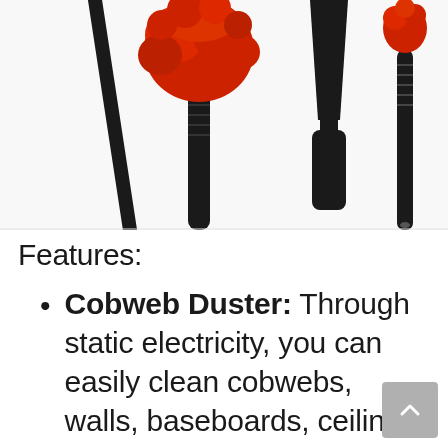[Figure (photo): Product photo showing cleaning dusters/brushes with black handles and red bristles, partially cropped at top of page]
Features:
Cobweb Duster: Through static electricity, you can easily clean cobwebs, walls, baseboards, ceiling fans, cabinets, corners, floors, under counters and popcorn ceilings with it. The proper contour shape and soft bristles remove dust and cobweb in the corners to protect the surface from